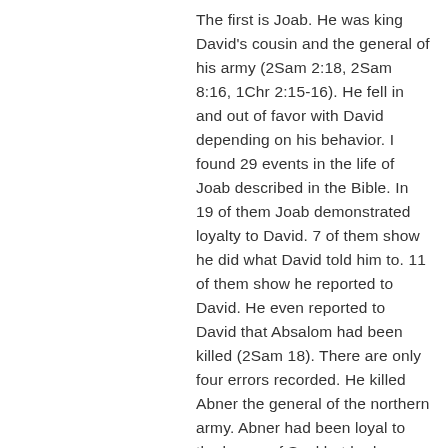The first is Joab. He was king David's cousin and the general of his army (2Sam 2:18, 2Sam 8:16, 1Chr 2:15-16). He fell in and out of favor with David depending on his behavior. I found 29 events in the life of Joab described in the Bible. In 19 of them Joab demonstrated loyalty to David. 7 of them show he did what David told him to. 11 of them show he reported to David. He even reported to David that Absalom had been killed (2Sam 18). There are only four errors recorded. He killed Abner the general of the northern army. Abner had been loyal to the house of Saul but had pledged loyalty to David (2Sam 2:23-31). He killed David's son Absalom who had exec coup against David, although David .. ordered him not to (2Sam 18). He killed